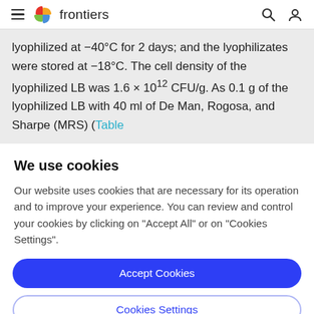frontiers
lyophilized at −40°C for 2 days; and the lyophilizates were stored at −18°C. The cell density of the lyophilized LB was 1.6 × 10¹² CFU/g. As 0.1 g of the lyophilized LB with 40 ml of De Man, Rogosa, and Sharpe (MRS) (Table
We use cookies
Our website uses cookies that are necessary for its operation and to improve your experience. You can review and control your cookies by clicking on "Accept All" or on "Cookies Settings".
Accept Cookies
Cookies Settings